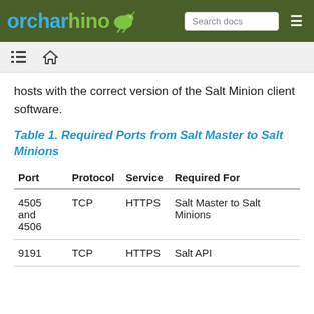orcharhino | Search docs
hosts with the correct version of the Salt Minion client software.
Table 1. Required Ports from Salt Master to Salt Minions
| Port | Protocol | Service | Required For |
| --- | --- | --- | --- |
| 4505 and 4506 | TCP | HTTPS | Salt Master to Salt Minions |
| 9191 | TCP | HTTPS | Salt API |